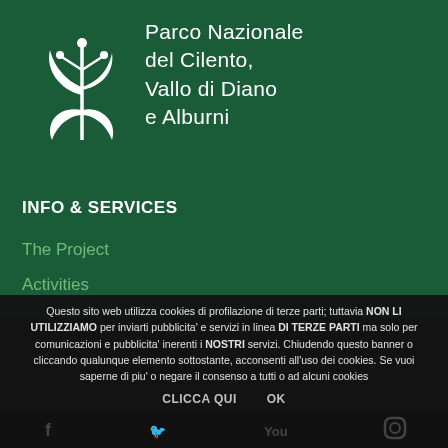[Figure (logo): Parco Nazionale del Cilento, Vallo di Diano e Alburni logo with white plant/flower graphic and stylized text]
INFO & SERVICES
The Project
Activities
Questo sito web utilizza cookies di profilazione di terze parti; tuttavia NON LI UTILIZZIAMO per inviarti pubblicita' e servizi in linea DI TERZE PARTI ma solo per comunicazioni e pubblicita' inerenti i NOSTRI servizi. Chiudendo questo banner o cliccando qualunque elemento sottostante, acconsenti all'uso dei cookies. Se vuoi saperne di piu' o negare il consenso a tutti o ad alcuni cookies
CLICCA QUI    OK